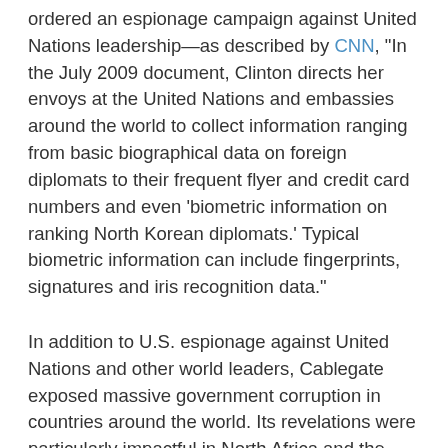ordered an espionage campaign against United Nations leadership—as described by CNN, "In the July 2009 document, Clinton directs her envoys at the United Nations and embassies around the world to collect information ranging from basic biographical data on foreign diplomats to their frequent flyer and credit card numbers and even 'biometric information on ranking North Korean diplomats.' Typical biometric information can include fingerprints, signatures and iris recognition data."
In addition to U.S. espionage against United Nations and other world leaders, Cablegate exposed massive government corruption in countries around the world. Its revelations were particularly impactful in North Africa and the Middle East, where some countries with weaker